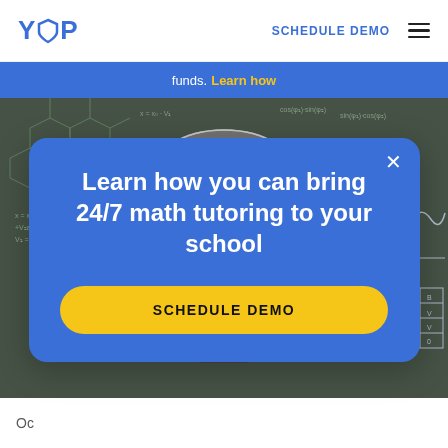YUP   SCHEDULE DEMO
funds.  Learn how
[Figure (photo): Chalkboard background with math equations, formulas, and a student in the center. Text 'LEARNING' in yellow overlaid. Partial article title 'Learning Acceleration: The Key To' in white bold text.]
Learn how you can bring 24/7 math tutoring to your school
SCHEDULE DEMO
Oc